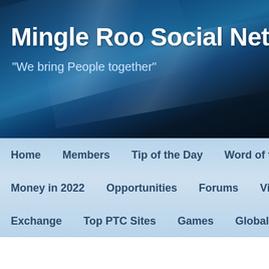Mingle Roo Social Network
"We bring People together"
Home | Members | Tip of the Day | Word of the D... | Money in 2022 | Opportunities | Forums | Videos | Exchange | Top PTC Sites | Games | Global Happ...
Vera